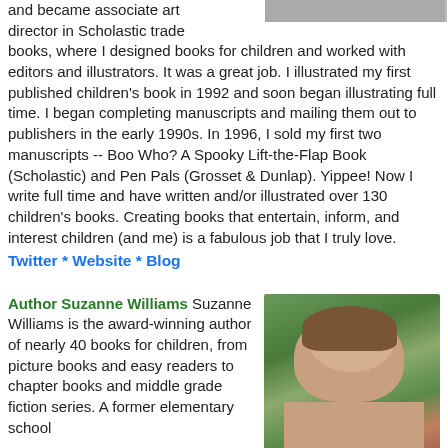and became associate art director in Scholastic trade books, where I designed books for children and worked with editors and illustrators. It was a great job. I illustrated my first published children's book in 1992 and soon began illustrating full time. I began completing manuscripts and mailing them out to publishers in the early 1990s. In 1996, I sold my first two manuscripts -- Boo Who? A Spooky Lift-the-Flap Book (Scholastic) and Pen Pals (Grosset & Dunlap). Yippee! Now I write full time and have written and/or illustrated over 130 children's books. Creating books that entertain, inform, and interest children (and me) is a fabulous job that I truly love.
Twitter * Website * Blog
[Figure (photo): Photo of author at top right, partially visible]
Author Suzanne Williams Suzanne Williams is the award-winning author of nearly 40 books for children, from picture books and easy readers to chapter books and middle grade fiction series. A former elementary school
[Figure (photo): Headshot photo of Suzanne Williams, a woman with short brown hair, outdoors with green foliage background]